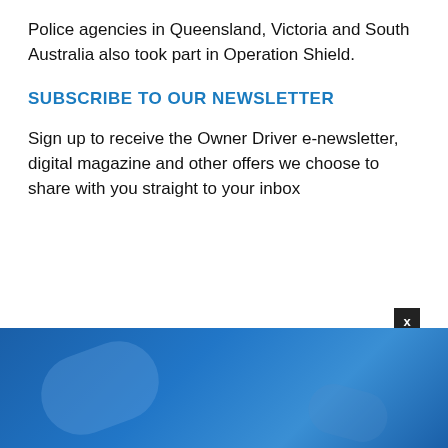Police agencies in Queensland, Victoria and South Australia also took part in Operation Shield.
SUBSCRIBE TO OUR NEWSLETTER
Sign up to receive the Owner Driver e-newsletter, digital magazine and other offers we choose to share with you straight to your inbox
[Figure (photo): Blue advertisement banner with close button (X) in top right corner]